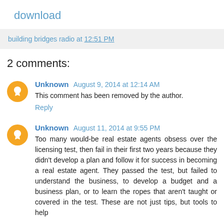download
building bridges radio at 12:51 PM
2 comments:
Unknown August 9, 2014 at 12:14 AM
This comment has been removed by the author.
Reply
Unknown August 11, 2014 at 9:55 PM
Too many would-be real estate agents obsess over the licensing test, then fail in their first two years because they didn't develop a plan and follow it for success in becoming a real estate agent. They passed the test, but failed to understand the business, to develop a budget and a business plan, or to learn the ropes that aren't taught or covered in the test. These are not just tips, but tools to help